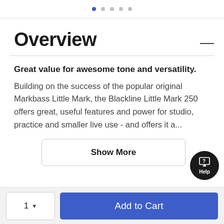• • • • •
Overview
Great value for awesome tone and versatility.
Building on the success of the popular original Markbass Little Mark, the Blackline Little Mark 250 offers great, useful features and power for studio, practice and smaller live use - and offers it a...
Show More
1  ▼   Add to Cart